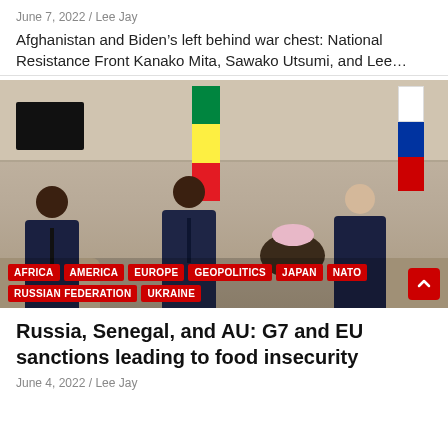June 7, 2022 / Lee Jay
Afghanistan and Biden’s left behind war chest: National Resistance Front Kanako Mita, Sawako Utsumi, and Lee…
[Figure (photo): Three men in suits standing in a formal meeting room with African Union/Senegal and Russian flags. Tags overlaid on lower portion: AFRICA, AMERICA, EUROPE, GEOPOLITICS, JAPAN, NATO, RUSSIAN FEDERATION, UKRAINE.]
Russia, Senegal, and AU: G7 and EU sanctions leading to food insecurity
June 4, 2022 / Lee Jay